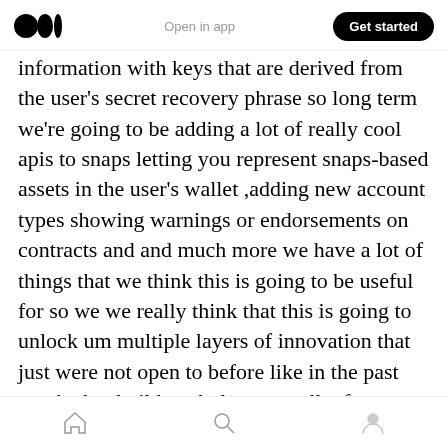Open in app | Get started
information with keys that are derived from the user's secret recovery phrase so long term we're going to be adding a lot of really cool apis to snaps letting you represent snaps-based assets in the user's wallet ,adding new account types showing warnings or endorsements on contracts and and much more we have a lot of things that we think this is going to be useful for so we we really think that this is going to unlock um multiple layers of innovation that just were not open to before like in the past you had to build a whole new wallet from scratch if you wanted to do a lot of these things and so uh it's been a lot of
Home Search Profile